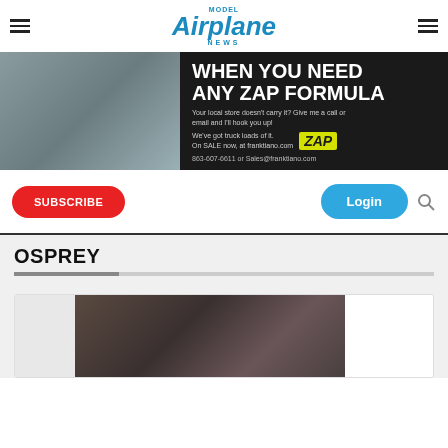Model Airplane News — navigation header with hamburger menus and logo
[Figure (photo): Advertisement banner for ZAP formula adhesive from franktiano.com. Left side shows a man sitting at a workbench holding a product. Right side has dark background with text: WHEN YOU NEED ANY ZAP FORMULA. Your local store doesn't carry it? Give me a call or email and I'll hook you up! We've got truck loads of it. On SALE now, at franktiano.com. ZAP logo in yellow. 863-607-6611 or Sales@franktiano.com]
SUBSCRIBE
Login
OSPREY
[Figure (photo): Article preview card showing hands holding an RC aircraft controller/transmitter device against a dark background]